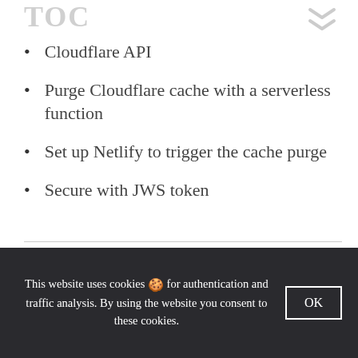TOC
Cloudflare API
Purge Cloudflare cache with a serverless function
Set up Netlify to trigger the cache purge
Secure with JWS token
RECENT READS
This website uses cookies 🍪 for authentication and traffic analysis. By using the website you consent to these cookies.
OK